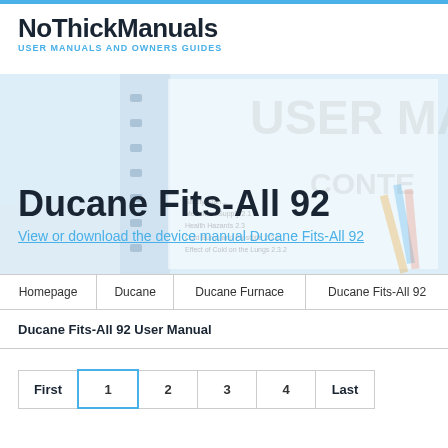NoThickManuals USER MANUALS AND OWNERS GUIDES
[Figure (screenshot): Hero image showing a user manual binder with table of contents visible, overlaid with device title and link]
Ducane Fits-All 92
View or download the device manual Ducane Fits-All 92
| Homepage | Ducane | Ducane Furnace | Ducane Fits-All 92 |
| --- | --- | --- | --- |
Ducane Fits-All 92 User Manual
| First | 1 | 2 | 3 | 4 | Last |
| --- | --- | --- | --- | --- | --- |